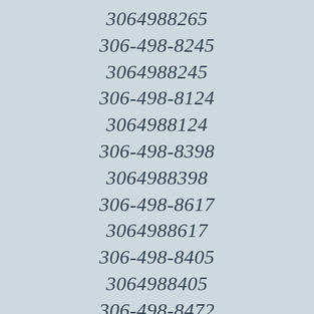3064988265
306-498-8245
3064988245
306-498-8124
3064988124
306-498-8398
3064988398
306-498-8617
3064988617
306-498-8405
3064988405
306-498-8472
3064988472
306-498-8473
3064988473
306-498-8526